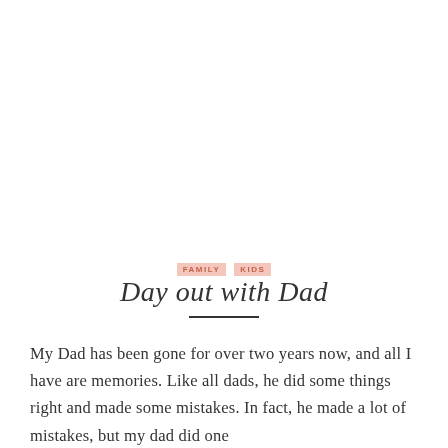FAMILY  KIDS
Day out with Dad
My Dad has been gone for over two years now, and all I have are memories. Like all dads, he did some things right and made some mistakes. In fact, he made a lot of mistakes, but my dad did one